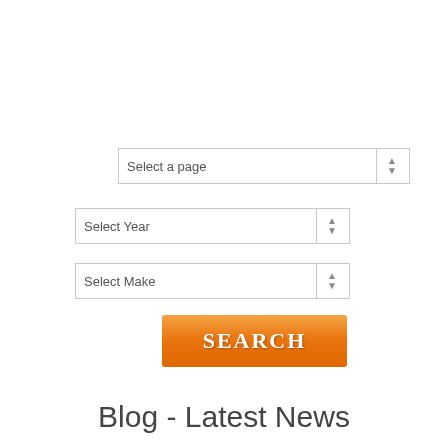[Figure (screenshot): Select a page dropdown control with up/down arrow]
[Figure (screenshot): Select Year dropdown control with up/down arrow]
[Figure (screenshot): Select Make dropdown control with up/down arrow]
[Figure (screenshot): Orange SEARCH button]
Blog - Latest News